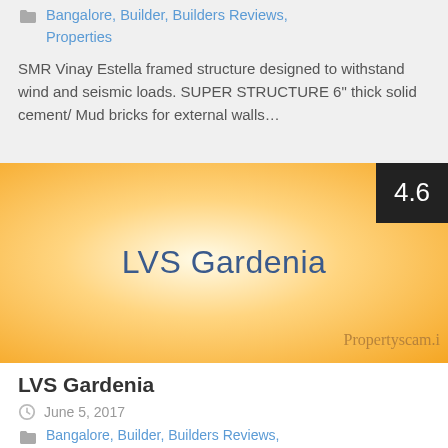Bangalore, Builder, Builders Reviews, Properties
SMR Vinay Estella framed structure designed to withstand wind and seismic loads. SUPER STRUCTURE 6" thick solid cement/ Mud bricks for external walls…
[Figure (illustration): Orange radial gradient background with 'LVS Gardenia' text in dark blue, rating badge '4.6' in dark box top-right, watermark 'Propertyscam.i' bottom-right]
LVS Gardenia
June 5, 2017
Bangalore, Builder, Builders Reviews, Properties, Property buying